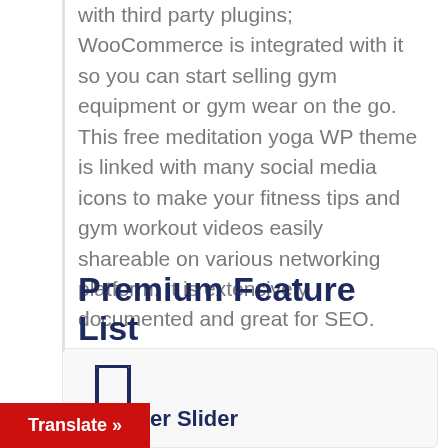with third party plugins; WooCommerce is integrated with it so you can start selling gym equipment or gym wear on the go. This free meditation yoga WP theme is linked with many social media icons to make your fitness tips and gym workout videos easily shareable on various networking platform. It is extensively documented and great for SEO.
Premium Feature List
Banner Slider
Translate »